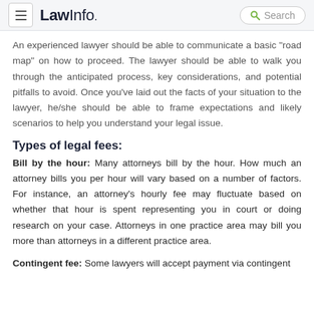LawInfo. Search
An experienced lawyer should be able to communicate a basic “road map” on how to proceed. The lawyer should be able to walk you through the anticipated process, key considerations, and potential pitfalls to avoid. Once you’ve laid out the facts of your situation to the lawyer, he/she should be able to frame expectations and likely scenarios to help you understand your legal issue.
Types of legal fees:
Bill by the hour: Many attorneys bill by the hour. How much an attorney bills you per hour will vary based on a number of factors. For instance, an attorney’s hourly fee may fluctuate based on whether that hour is spent representing you in court or doing research on your case. Attorneys in one practice area may bill you more than attorneys in a different practice area.
Contingent fee: Some lawyers will accept payment via contingent